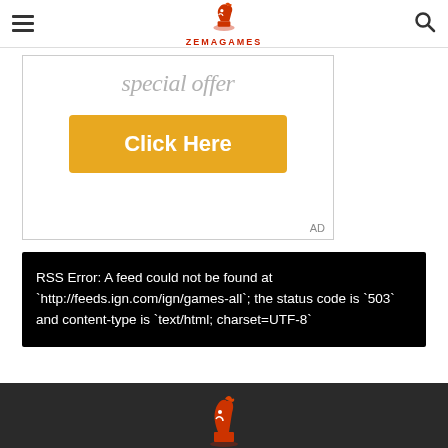ZEMAGAMES
[Figure (screenshot): Advertisement box with italic 'special offer' text and a gold 'Click Here' button. 'AD' label in bottom right corner.]
RSS Error: A feed could not be found at `http://feeds.ign.com/ign/games-all`; the status code is `503` and content-type is `text/html; charset=UTF-8`
[Figure (logo): ZemaGames logo in dark footer bar]